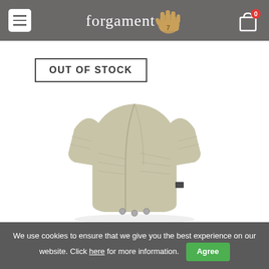Forgament store header with menu, logo, and cart icon
OUT OF STOCK
[Figure (photo): Baby wrap bodysuit in light beige/sage color, long sleeves, kimono-style wraparound front with snap closures at the bottom]
We use cookies to ensure that we give you the best experience on our website. Click here for more information. Agree